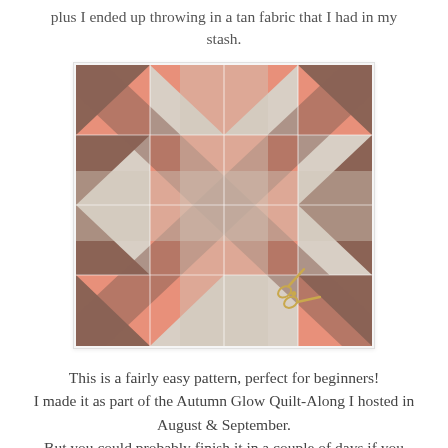plus I ended up throwing in a tan fabric that I had in my stash.
[Figure (photo): A quilt block with a star/Ohio Star pattern made in salmon/pink, brown, and tan/beige fabrics, laid flat with a small pair of gold scissors placed on it.]
This is a fairly easy pattern, perfect for beginners! I made it as part of the Autumn Glow Quilt-Along I hosted in August & September. But you could probably finish it in a couple of days if you